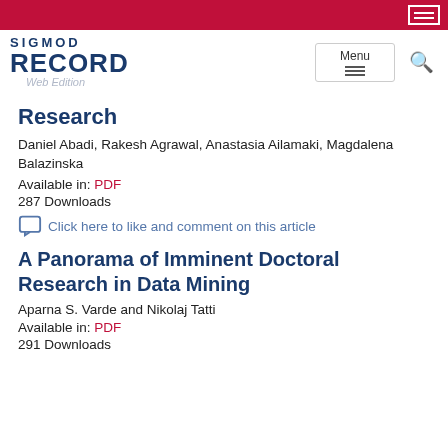SIGMOD RECORD Web Edition
Research
Daniel Abadi, Rakesh Agrawal, Anastasia Ailamaki, Magdalena Balazinska
Available in: PDF
287 Downloads
Click here to like and comment on this article
A Panorama of Imminent Doctoral Research in Data Mining
Aparna S. Varde and Nikolaj Tatti
Available in: PDF
291 Downloads